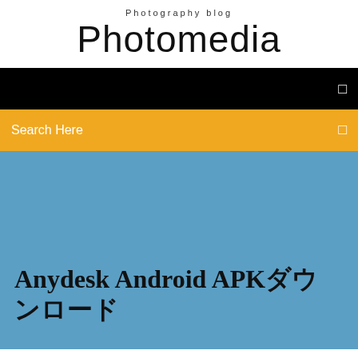Photography blog
Photomedia
[Figure (screenshot): Black navigation bar with white menu icon on the right]
Search Here
Anydesk Android APK ダウンロード